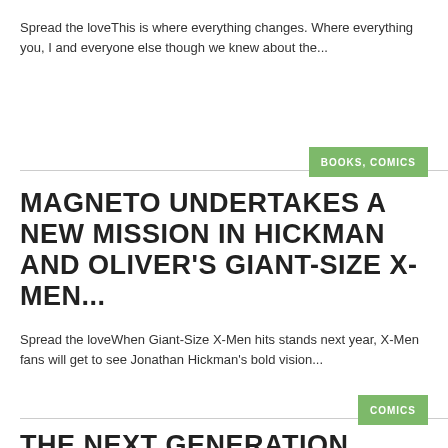Spread the loveThis is where everything changes. Where everything you, I and everyone else though we knew about the...
BOOKS, COMICS
MAGNETO UNDERTAKES A NEW MISSION IN HICKMAN AND OLIVER'S GIANT-SIZE X-MEN...
Spread the loveWhen Giant-Size X-Men hits stands next year, X-Men fans will get to see Jonathan Hickman's bold vision...
COMICS
THE NEXT GENERATION CLAIMS THE DAWN IN THE NEW MUTANTS #1 LAUNCH TRAILER!